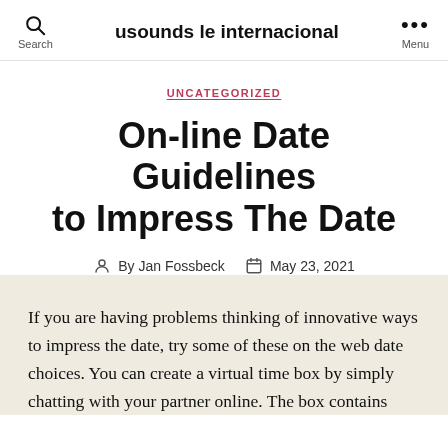usounds le internacional
UNCATEGORIZED
On-line Date Guidelines to Impress The Date
By Jan Fossbeck   May 23, 2021
If you are having problems thinking of innovative ways to impress the date, try some of these on the web date choices. You can create a virtual time box by simply chatting with your partner online. The box contains